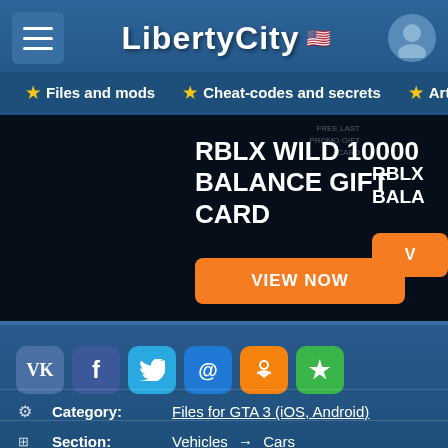LibertyCity
Files and mods
Cheat-codes and secrets
Artic
[Figure (screenshot): Advertisement banner: RBLX WILD 10000 BALANCE GIFT CARD with orange VIEW NOW button]
[Figure (infographic): Social sharing icons: VK, Facebook, Twitter, Mail, OK, Favorites]
Category: Files for GTA 3 (iOS, Android)
Section: Vehicles → Cars
Author*: XE3